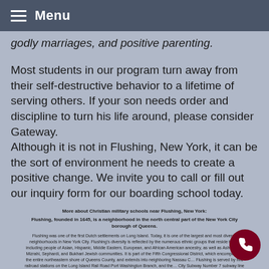Menu
godly marriages, and positive parenting.
Most students in our program turn away from their self-destructive behavior to a lifetime of serving others. If your son needs order and discipline to turn his life around, please consider Gateway.
Although it is not in Flushing, New York, it can be the sort of environment he needs to create a positive change. We invite you to call or fill out our inquiry form for our boarding school today.
More about Christian military schools near Flushing, New York:
Flushing, founded in 1645, is a neighborhood in the north central part of the New York City borough of Queens.

Flushing was one of the first Dutch settlements on Long Island. Today, it is one of the largest and most diverse neighborhoods in New York City. Flushing's diversity is reflected by the numerous ethnic groups that reside there, including people of Asian, Hispanic, Middle Eastern, European, and African American ancestry, as well as Ashkenazi, Mizrahi, Sephardi, and Bukhari Jewish communities. It is part of the Fifth Congressional District, which encompasses the entire northeastern shore of Queens County, and extends into neighboring Nassau County. Flushing is served by five railroad stations on the Long Island Rail Road Port Washington Branch, and the New York City Subway Number 7 subway line has its terminus at Main Street. The intersection of Main Street and Roosevelt Avenue is the third busiest intersection in New York City, behind only Times Square and Herald Square.

Flushing is part of Queens Community Board 7 and is bounded by Flushing Meadows-Corona Park to the West, Francis Lewis Boulevard to the East, Union Turnpike to the South and Willets Point Boulevard to the North.